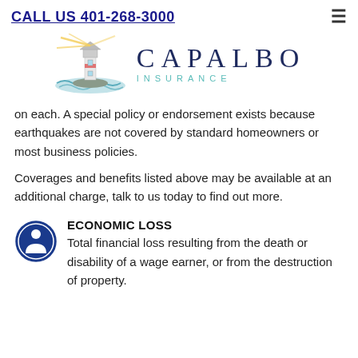CALL US 401-268-3000
[Figure (logo): Capalbo Insurance logo with a lighthouse illustration and the text CAPALBO INSURANCE]
on each. A special policy or endorsement exists because earthquakes are not covered by standard homeowners or most business policies.
Coverages and benefits listed above may be available at an additional charge, talk to us today to find out more.
ECONOMIC LOSS
Total financial loss resulting from the death or disability of a wage earner, or from the destruction of property.